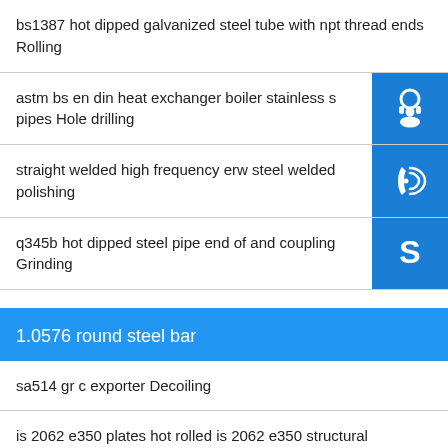bs1387 hot dipped galvanized steel tube with npt thread ends Rolling
astm bs en din heat exchanger boiler stainless s... pipes Hole drilling
straight welded high frequency erw steel welded... polishing
q345b hot dipped steel pipe end of and coupling... Grinding
1.0576 round steel bar
sa514 gr c exporter Decoiling
is 2062 e350 plates hot rolled is 2062 e350 structural